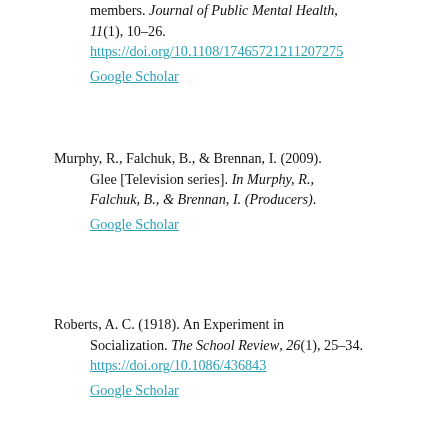members. Journal of Public Mental Health, 11(1), 10–26. https://doi.org/10.1108/174657212112​07275
Google Scholar
Murphy, R., Falchuk, B., & Brennan, I. (2009). Glee [Television series]. In Murphy, R., Falchuk, B., & Brennan, I. (Producers).
Google Scholar
Roberts, A. C. (1918). An Experiment in Socialization. The School Review, 26(1), 25–34. https://doi.org/10.1086/436843
Google Scholar